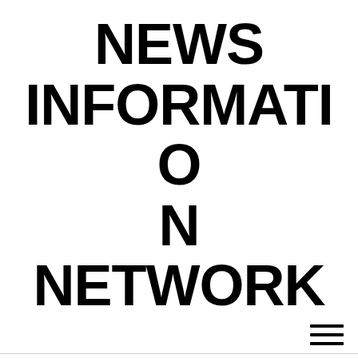NEWS INFORMATION NETWORK
[Figure (other): Hamburger menu icon with three horizontal lines]
New urbanization in